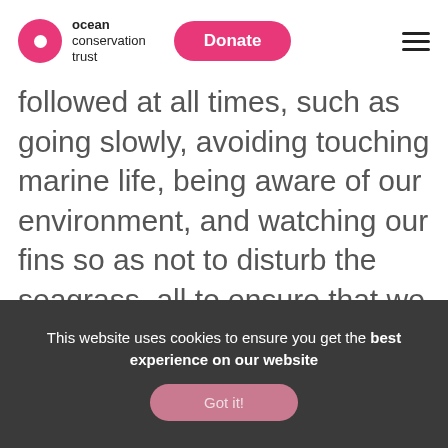ocean conservation trust | Donate
followed at all times, such as going slowly, avoiding touching marine life, being aware of our environment, and watching our fins so as not to disturb the seagrass, all to ensure that we were minimising the risk of the activity having any negative impact up on the habitat.
This website uses cookies to ensure you get the best experience on our website
Got it!